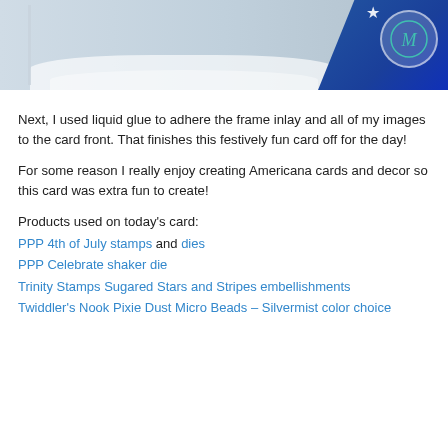[Figure (photo): Partial photo showing a card craft project with blue card stock, white lace, and a watermark logo circle in teal on the upper right.]
Next, I used liquid glue to adhere the frame inlay and all of my images to the card front. That finishes this festively fun card off for the day!
For some reason I really enjoy creating Americana cards and decor so this card was extra fun to create!
Products used on today's card:
PPP 4th of July stamps and dies
PPP Celebrate shaker die
Trinity Stamps Sugared Stars and Stripes embellishments
Twiddler's Nook Pixie Dust Micro Beads – Silvermist color choice